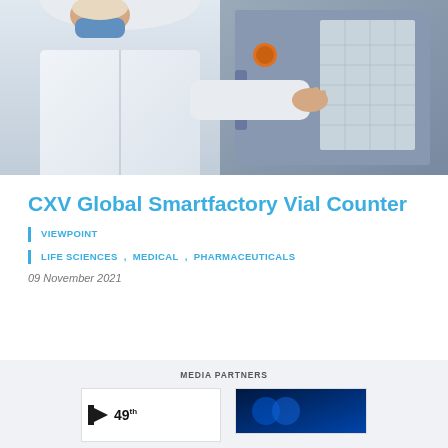[Figure (photo): A person in white lab coat and blue face mask operating a control panel or keypad on industrial equipment in a pharmaceutical/cleanroom setting]
CXV Global Smartfactory Vial Counter
VIEWPOINT
LIFE SCIENCES ,  MEDICAL ,  PHARMACEUTICALS
09 November 2021
MEDIA PARTNERS
[Figure (logo): Logo with arrow icon and '49th' text in superscript]
[Figure (logo): Dark blue logo/banner for a media partner]